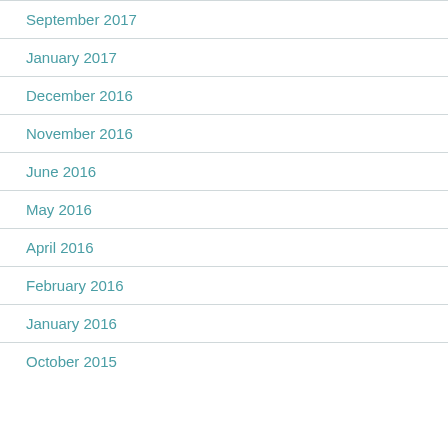September 2017
January 2017
December 2016
November 2016
June 2016
May 2016
April 2016
February 2016
January 2016
October 2015